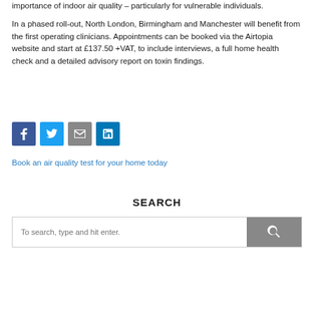importance of indoor air quality – particularly for vulnerable individuals.
In a phased roll-out, North London, Birmingham and Manchester will benefit from the first operating clinicians. Appointments can be booked via the Airtopia website and start at £137.50 +VAT, to include interviews, a full home health check and a detailed advisory report on toxin findings.
[Figure (other): Social media share icons: Facebook (blue), Twitter (light blue), Email (grey), LinkedIn (dark blue)]
Book an air quality test for your home today
SEARCH
To search, type and hit enter.